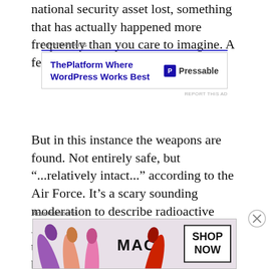national security asset lost, something that has actually happened more frequently than you care to imagine. A few have never been recovered.
[Figure (screenshot): Advertisement banner: ThePlatform Where WordPress Works Best — Pressable]
But in this instance the weapons are found. Not entirely safe, but “...relatively intact...” according to the Air Force. It’s a scary sounding moderation to describe radioactive A-bombs lying around in the woods of the Eastern U.S. unattended. The bombs come to rest on the placid Stonewall Green Farm.
[Figure (screenshot): Advertisement banner: MAC cosmetics SHOP NOW with lipstick imagery]